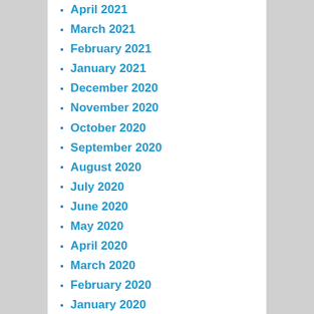April 2021
March 2021
February 2021
January 2021
December 2020
November 2020
October 2020
September 2020
August 2020
July 2020
June 2020
May 2020
April 2020
March 2020
February 2020
January 2020
December 2019
November 2019
October 2019
August 2019
June 2019